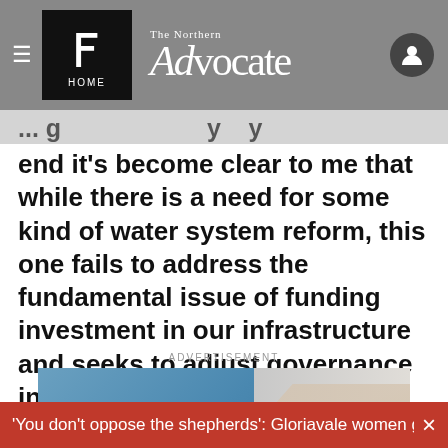The Northern Advocate — HOME
end it's become clear to me that while there is a need for some kind of water system reform, this one fails to address the fundamental issue of funding investment in our infrastructure and seeks to adjust governance in a way that limits the ability of all people and communities to engage," Smith said.
ADVERTISEMENT
[Figure (photo): Advertisement image with blue background showing the word GENERATE with a circular logo/icon, and hands visible on the right side]
'You don't oppose the shepherds': Gloriavale women give